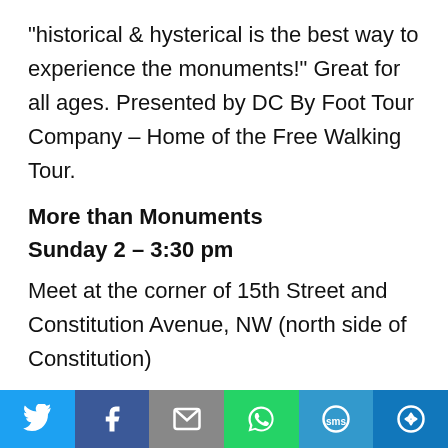“historical & hysterical is the best way to experience the monuments!” Great for all ages. Presented by DC By Foot Tour Company – Home of the Free Walking Tour.
More than Monuments
Sunday 2 – 3:30 pm
Meet at the corner of 15th Street and Constitution Avenue, NW (north side of Constitution)
End at the steps of the Lincoln Memorial
The National Mall is filled with legendary stories about George Washington’s love for dogs, why
[Figure (other): Social sharing bar with Twitter, Facebook, Email, WhatsApp, SMS, and More buttons]